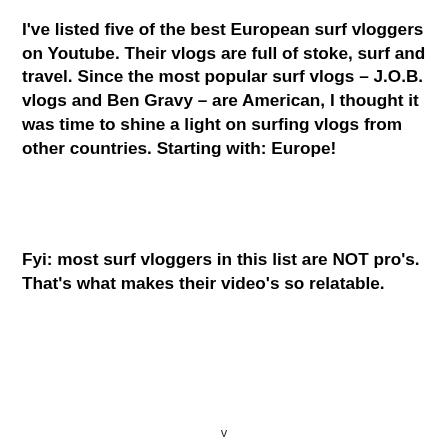I've listed five of the best European surf vloggers on Youtube. Their vlogs are full of stoke, surf and travel. Since the most popular surf vlogs – J.O.B. vlogs and Ben Gravy – are American, I thought it was time to shine a light on surfing vlogs from other countries. Starting with: Europe!
Fyi: most surf vloggers in this list are NOT pro's. That's what makes their video's so relatable.